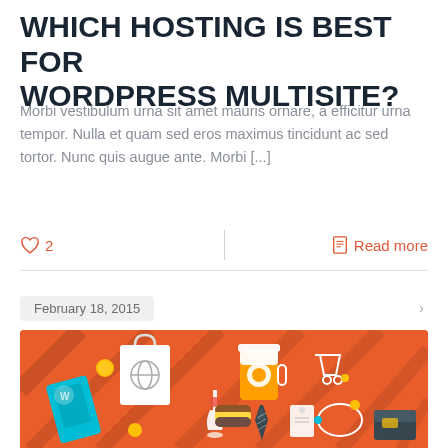WHICH HOSTING IS BEST FOR WORDPRESS MULTISITE?
Morbi vestibulum urna sit amet mauris ornare, a efficitur urna tempor. Nulla et quam sed eros maximus tincidunt ac sed tortor. Nunc quis augue ante. Morbi [...]
♡ 2   Read more
February 18, 2015
[Figure (illustration): Orange background e-commerce flat design illustration with shopping bag, coffee cup, shopping cart, wine glass, tie, necklace, wallet, hamburger, and other retail/lifestyle icons with diagonal shadow lines]